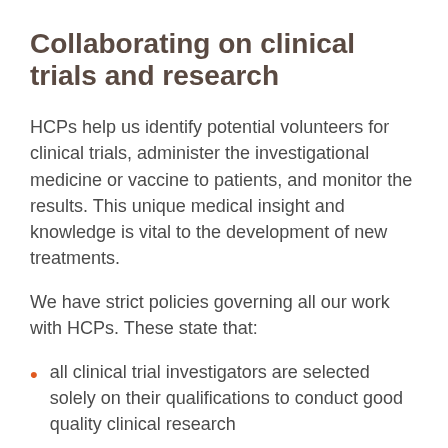Collaborating on clinical trials and research
HCPs help us identify potential volunteers for clinical trials, administer the investigational medicine or vaccine to patients, and monitor the results. This unique medical insight and knowledge is vital to the development of new treatments.
We have strict policies governing all our work with HCPs. These state that:
all clinical trial investigators are selected solely on their qualifications to conduct good quality clinical research